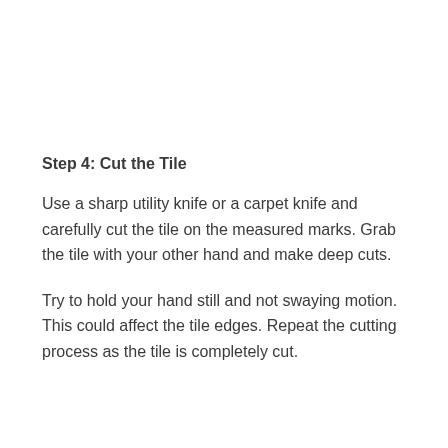Step 4: Cut the Tile
Use a sharp utility knife or a carpet knife and carefully cut the tile on the measured marks. Grab the tile with your other hand and make deep cuts.
Try to hold your hand still and not swaying motion. This could affect the tile edges. Repeat the cutting process as the tile is completely cut.